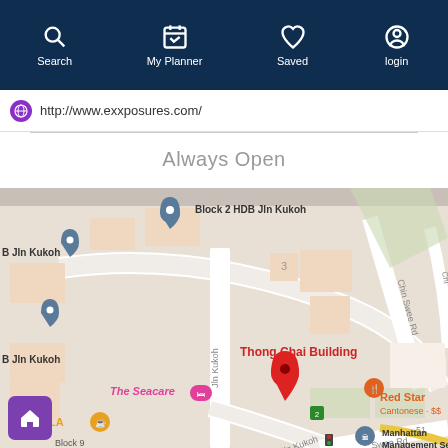Search | My Planner | Saved | login
http://www.exxposures.com/
Always Open
[Figure (map): Google Maps view showing Thong Chai Building location near Jln Kukoh and Chin Swee Rd in Singapore. Red pin marks location. Nearby landmarks: Block 2 HDB Jln Kukoh, B Jln Kukoh, The Seacare, WOLA, Red Star Cantonese $$, Manhattan Management Services, Block 9.]